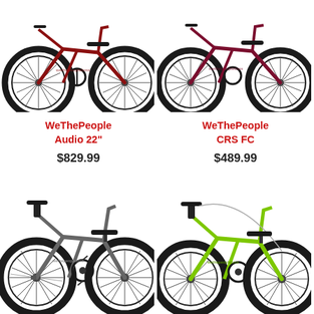[Figure (photo): WeThePeople Audio 22 inch BMX bike in dark red/maroon color, side view, top portion cropped]
[Figure (photo): WeThePeople CRS FC BMX bike in dark red/maroon color, side view, top portion cropped]
WeThePeople
Audio 22"
$829.99
WeThePeople
CRS FC
$489.99
[Figure (photo): WeThePeople BMX bike in dark gray/charcoal color, full side view]
[Figure (photo): WeThePeople BMX bike in bright green/lime color, full side view]